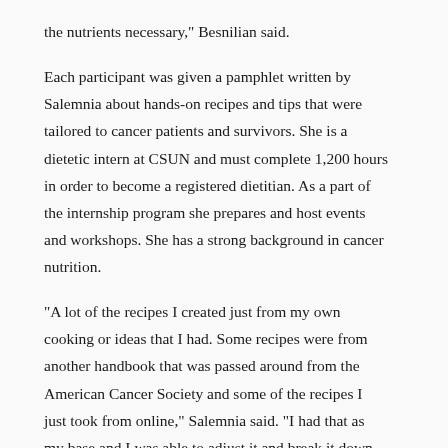the nutrients necessary," Besnilian said.
Each participant was given a pamphlet written by Salemnia about hands-on recipes and tips that were tailored to cancer patients and survivors. She is a dietetic intern at CSUN and must complete 1,200 hours in order to become a registered dietitian. As a part of the internship program she prepares and host events and workshops. She has a strong background in cancer nutrition.
“A lot of the recipes I created just from my own cooking or ideas that I had. Some recipes were from another handbook that was passed around from the American Cancer Society and some of the recipes I just took from online,” Salemnia said. “I had that as my base and I was able to adjust it and break it down for this workshop. I put the information into a computer program called Food Processor and we were able to put down the exact protein and calorie information.”